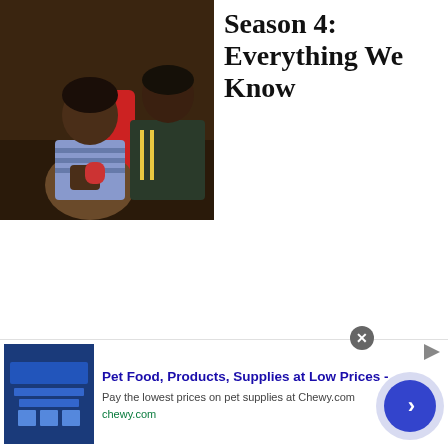[Figure (photo): Two people sitting together, one wearing a striped shirt and the other with a jacket, with colorful chairs (red and yellow) in the background]
Season 4: Everything We Know
[Figure (screenshot): Advertisement banner for Chewy.com: Pet Food, Products, Supplies at Low Prices - Pay the lowest prices on pet supplies at Chewy.com, chewy.com, with a blue product image on the left and a circular arrow button on the right]